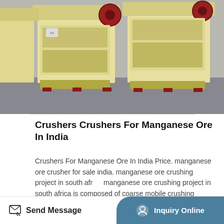[Figure (photo): Industrial jaw crusher machines in cream/yellow color on a concrete surface, two units visible side by side]
Crushers Crushers For Manganese Ore In India
Crushers For Manganese Ore In India Price. manganese ore crusher for sale india. manganese ore crushing project in south africa. manganese ore crushing project in south africa is composed of coarse mobile crushing station including GZ 4900 vibrating feeder and PE euro jaw crusher medium and fine mobile crushing and screening station including cone crusher and more
Send Message   Inquiry Online